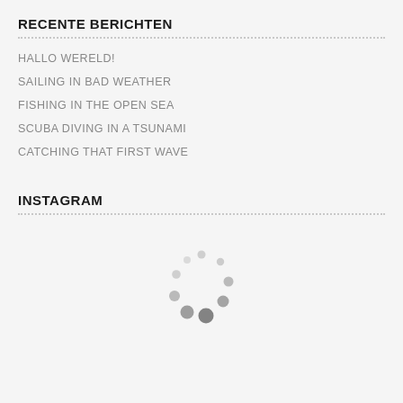RECENTE BERICHTEN
HALLO WERELD!
SAILING IN BAD WEATHER
FISHING IN THE OPEN SEA
SCUBA DIVING IN A TSUNAMI
CATCHING THAT FIRST WAVE
INSTAGRAM
[Figure (other): Loading spinner icon — circular arrangement of grey dots of varying sizes]